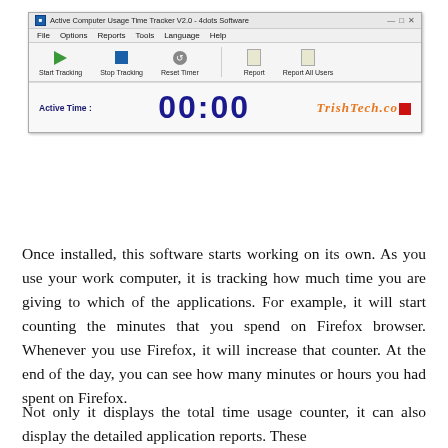[Figure (screenshot): Screenshot of Active Computer Usage Time Tracker V2.0 - 4dots Software application window showing title bar, menu bar (File, Options, Reports, Tools, Language, Help), toolbar buttons (Start Tracking, Stop Tracking, Reset Timer, Report, Report All Users), and an active time display showing 00:00 with TrishTech.com branding logo.]
Once installed, this software starts working on its own. As you use your work computer, it is tracking how much time you are giving to which of the applications. For example, it will start counting the minutes that you spend on Firefox browser. Whenever you use Firefox, it will increase that counter. At the end of the day, you can see how many minutes or hours you had spent on Firefox.
Not only it displays the total time usage counter, it can also display the detailed application reports. These